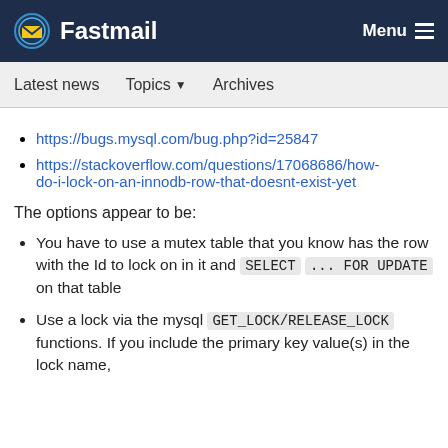Fastmail | Menu
Latest news | Topics | Archives
https://bugs.mysql.com/bug.php?id=25847
https://stackoverflow.com/questions/17068686/how-do-i-lock-on-an-innodb-row-that-doesnt-exist-yet
The options appear to be:
You have to use a mutex table that you know has the row with the Id to lock on in it and SELECT ... FOR UPDATE on that table
Use a lock via the mysql GET_LOCK/RELEASE_LOCK functions. If you include the primary key value(s) in the lock name,